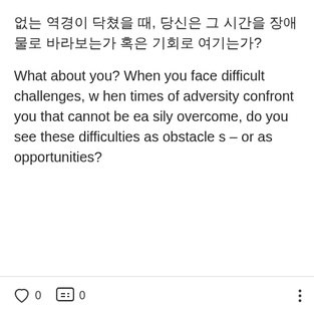없는 역경이 닥쳤을 때, 당신은 그 시간을 장애물로 바라보는가 혹은 기회로 여기는가?
What about you? When you face difficult challenges, when times of adversity confront you that cannot be easily overcome, do you see these difficulties as obstacles – or as opportunities?
0 likes  0 comments